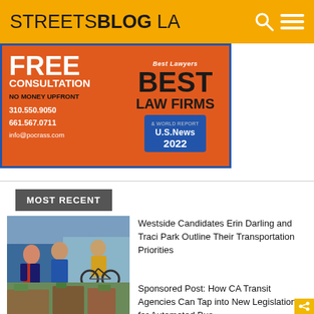STREETSBLOG LA
[Figure (infographic): Advertisement for Pocrass law firm: FREE CONSULTATION, NO MONEY UPFRONT, 310.550.9050, 661.567.0711, info@pocrass.com, Best Lawyers BEST LAW FIRMS U.S. News & World Report 2022]
MOST RECENT
[Figure (photo): Photo of people including a woman in red and a man with a bicycle on a beach promenade]
Westside Candidates Erin Darling and Traci Park Outline Their Transportation Priorities
[Figure (photo): Photo of urban building with trees]
Sponsored Post: How CA Transit Agencies Can Tap into New Legislation for Automated Bus